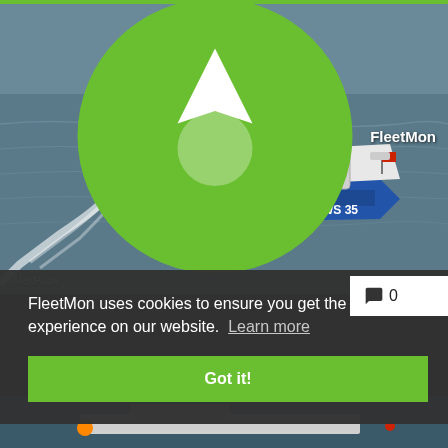[Figure (photo): A German police patrol boat marked 'POLIZEI WS 35' speeding across water, with a German flag visible, photographed from above.]
AlexPapa
FleetMon
FleetMon uses cookies to ensure you get the best experience on our website. Learn more
Got it!
[Figure (photo): Partial view of a second ship at the bottom of the page.]